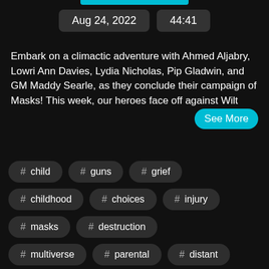Aug 24, 2022  44:41
Embark on a climactic adventure with Ahmed Aljabry, Lowri Ann Davies, Lydia Nicholas, Pip Gladwin, and GM Maddy Searle, as they conclude their campaign of Masks! This week, our heroes face off against Wilt
# child
# guns
# grief
# childhood
# choices
# injury
# masks
# destruction
# multiverse
# parental
# distant
# wooden
# wilt
# chap